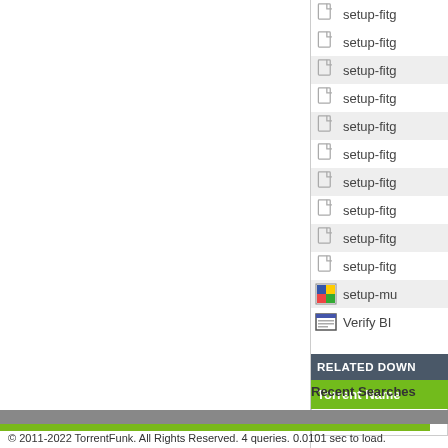setup-fitg
setup-fitg
setup-fitg
setup-fitg
setup-fitg
setup-fitg
setup-fitg
setup-fitg
setup-fitg
setup-fitg
setup-mu
Verify BI
RELATED DOWN
Torrent Name
Recent Searches
© 2011-2022 TorrentFunk. All Rights Reserved. 4 queries. 0.0101 sec to load.